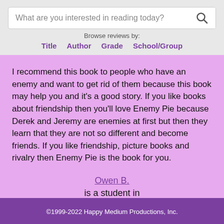What are you interested in reading today?
Browse reviews by:
Title   Author   Grade   School/Group
I recommend this book to people who have an enemy and want to get rid of them because this book may help you and it's a good story. If you like books about friendship then you'll love Enemy Pie because Derek and Jeremy are enemies at first but then they learn that they are not so different and become friends. If you like friendship, picture books and rivalry then Enemy Pie is the book for you.
Owen B.
is a student in
Mrs. Ruprich's 3rd Grade Class
©1999-2022 Happy Medium Productions, Inc.